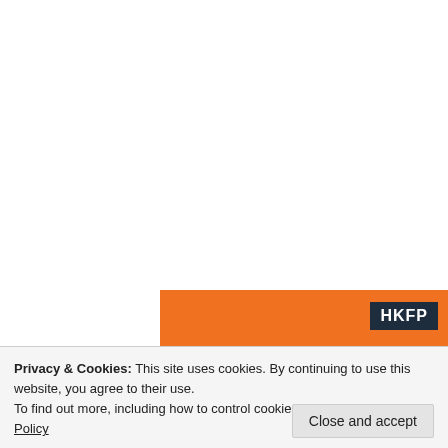[Figure (other): HKFP advertisement banner with orange background. Contains HKFP logo in dark box top-right. Text reads: Help safeguard independent media & press freedom (highlighted in blue pill) in Hong Kong with one-]
Privacy & Cookies: This site uses cookies. By continuing to use this website, you agree to their use.
To find out more, including how to control cookies, see here: Cookie Policy
Close and accept